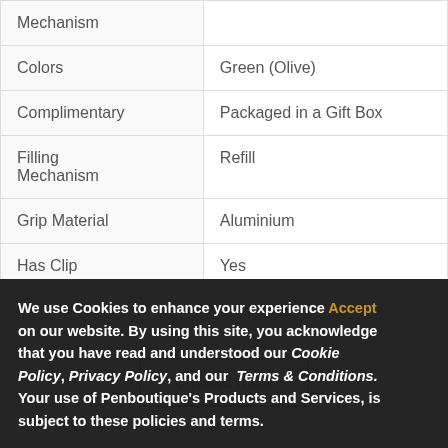| Property | Value |
| --- | --- |
| Mechanism |  |
| Colors | Green (Olive) |
| Complimentary | Packaged in a Gift Box |
| Filling Mechanism | Refill |
| Grip Material | Aluminium |
| Has Clip | Yes |
| Material | Aluminium |
Read more
We use Cookies to enhance your experience on our website. By using this site, you acknowledge that you have read and understood our Cookie Policy, Privacy Policy, and our Terms & Conditions. Your use of Penboutique's Products and Services, is subject to these policies and terms.